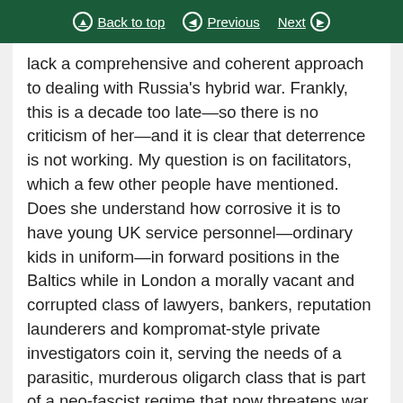Back to top | Previous | Next
lack a comprehensive and coherent approach to dealing with Russia’s hybrid war. Frankly, this is a decade too late—so there is no criticism of her—and it is clear that deterrence is not working. My question is on facilitators, which a few other people have mentioned. Does she understand how corrosive it is to have young UK service personnel—ordinary kids in uniform—in forward positions in the Baltics while in London a morally vacant and corrupted class of lawyers, bankers, reputation launderers and kompromat-style private investigators coin it, serving the needs of a parasitic, murderous oligarch class that is part of a neo-fascist regime that now threatens war in Europe? What are we doing about this corrupt facilitator class?